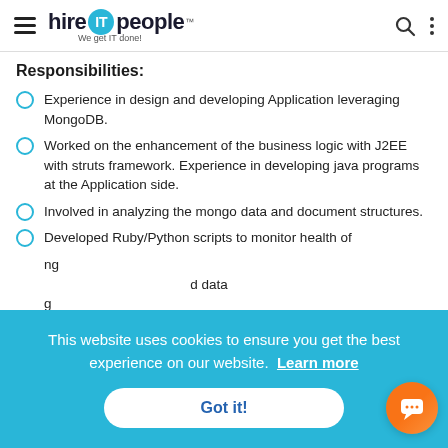hire IT people — We get IT done!
Responsibilities:
Experience in design and developing Application leveraging MongoDB.
Worked on the enhancement of the business logic with J2EE with struts framework. Experience in developing java programs at the Application side.
Involved in analyzing the mongo data and document structures.
Developed Ruby/Python scripts to monitor health of …ing …d data …g with MongoDB.
This website uses cookies to ensure you get the best experience on our website. Learn more